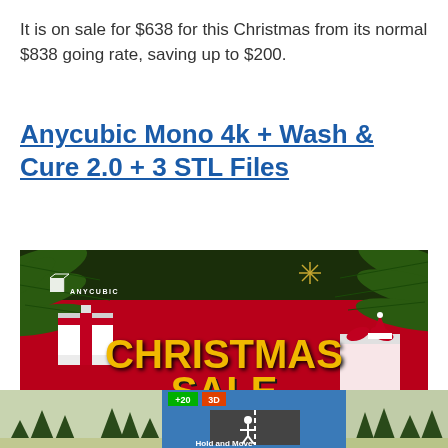It is on sale for $638 for this Christmas from its normal $838 going rate, saving up to $200.
Anycubic Mono 4k + Wash & Cure 2.0 + 3 STL Files
[Figure (photo): Anycubic Christmas Sale promotional banner image with pine branches, snowflakes, gift boxes, and yellow text reading 'CHRISTMAS SALE' on a red background with product listings at the bottom.]
[Figure (photo): Advertisement banner at the bottom of the page showing a road scene with a game called 'Hold and Move', with a close button (? X) visible.]